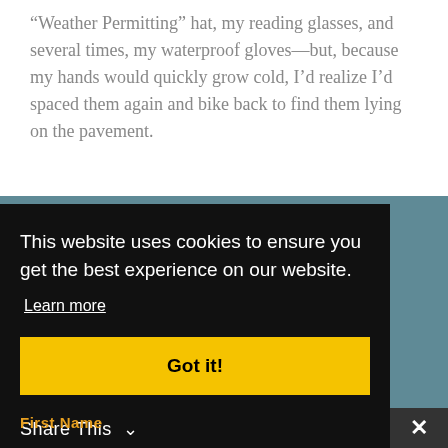“Weather Permitting” hat, my reading glasses, and several times, my waterproof gloves—but, because my hands would quickly grow cold, I’d realize I’d spaced them again and bike back to find them lying on the pavement.
This website uses cookies to ensure you get the best experience on our website.
Learn more
Got it!
Share This
First Name